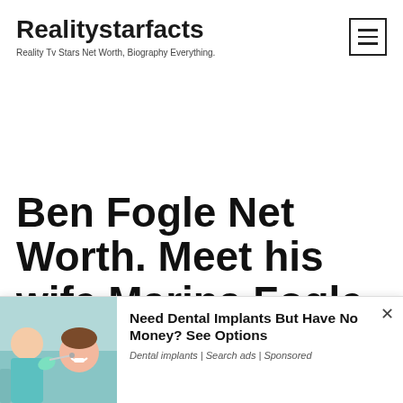Realitystarfacts
Reality Tv Stars Net Worth, Biography Everything.
Ben Fogle Net Worth. Meet his wife Marina Fogle and their Kids
[Figure (infographic): Advertisement overlay: dental implants ad showing a woman receiving dental treatment, with headline 'Need Dental Implants But Have No Money? See Options' and meta text 'Dental implants | Search ads | Sponsored']